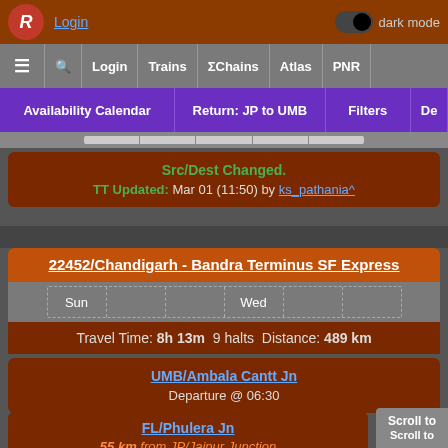Login | dark mode | ≡ 🔍 Login Trains ΣChains Atlas PNR
Availability Calendar | Return: JP to UMB | Filters | De
Src/Dest Changed.
TT Updated: Mar 01 (11:50) by ks_pathania^
22452/Chandigarh - Bandra Terminus SF Express
Sun | Wed (days grid)
Travel Time: 8h 13m  9 halts  Distance: 489 km
UMB/Ambala Cantt Jn
Departure @ 06:30
FL/Phulera Jn
55 km from JP/Jaipur Junction
Arrival @ 14:43
Scroll to